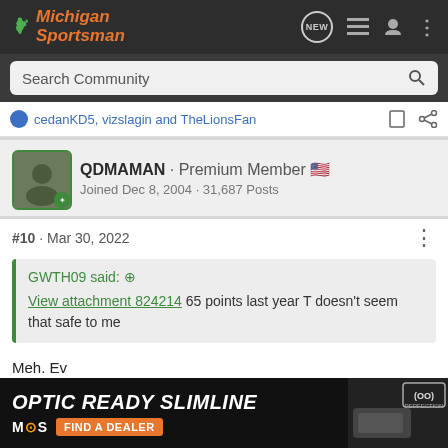Michigan Sportsman
cedanKD5, vizslagin and TheLionsFan
QDMAMAN · Premium Member
Joined Dec 8, 2004 · 31,687 Posts
#10 · Mar 30, 2022
GWTH09 said: View attachment 824214 65 points last year T doesn't seem that safe to me
Meh. Ev
[Figure (screenshot): OPTIC READY SLIMLINE advertisement banner with MOS logo, FIND A DEALER button, and GLOCK PERFECTION logo]